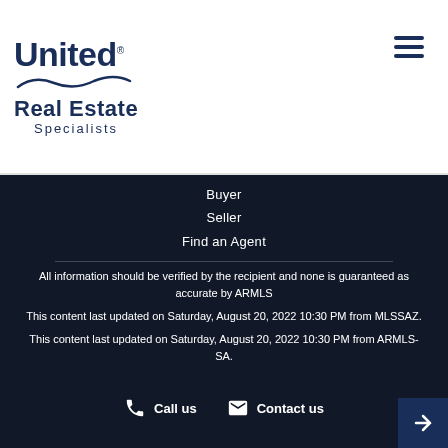[Figure (logo): United Real Estate Specialists logo with stylized wave underline]
Buyer
Seller
Find an Agent
All information should be verified by the recipient and none is guaranteed as accurate by ARMLS
This content last updated on Saturday, August 20, 2022 10:30 PM from MLSSAZ.
This content last updated on Saturday, August 20, 2022 10:30 PM from ARMLS-SA.
Each Office Independently Owned And Operated. The information provided herein is deemed accurate, but subject to errors, omissions, price change, prior sale or withdrawal, without notice, and no guarantee or is anyway responsible for the accuracy or complete...